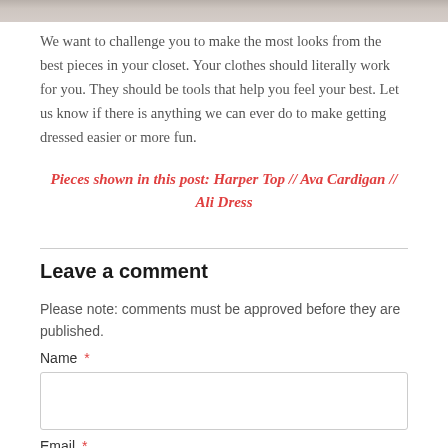[Figure (photo): Partial cropped photo strip at top of page, showing muted gray/beige tones]
We want to challenge you to make the most looks from the best pieces in your closet. Your clothes should literally work for you. They should be tools that help you feel your best. Let us know if there is anything we can ever do to make getting dressed easier or more fun.
Pieces shown in this post: Harper Top // Ava Cardigan // Ali Dress
Leave a comment
Please note: comments must be approved before they are published.
Name *
Email *